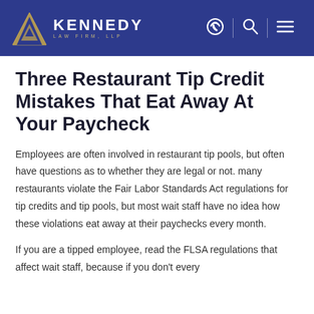Kennedy Law Firm, LLP
Three Restaurant Tip Credit Mistakes That Eat Away At Your Paycheck
Employees are often involved in restaurant tip pools, but often have questions as to whether they are legal or not. many restaurants violate the Fair Labor Standards Act regulations for tip credits and tip pools, but most wait staff have no idea how these violations eat away at their paychecks every month.
If you are a tipped employee, read the FLSA regulations that affect wait staff, because if you don't every